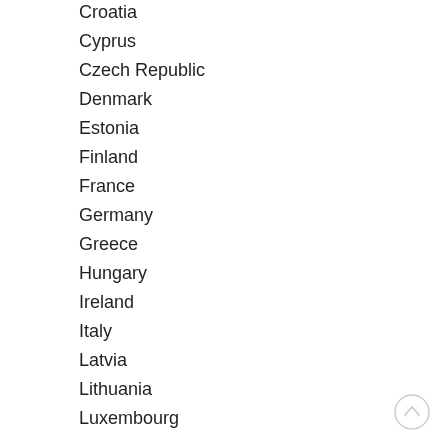Croatia
Cyprus
Czech Republic
Denmark
Estonia
Finland
France
Germany
Greece
Hungary
Ireland
Italy
Latvia
Lithuania
Luxembourg